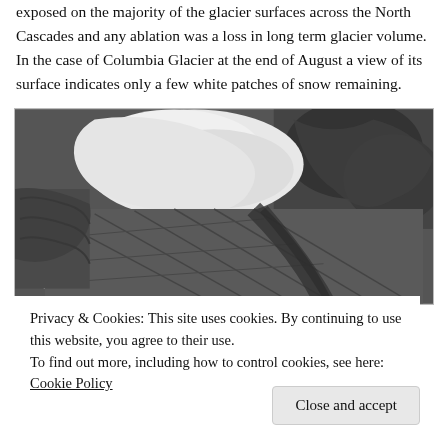exposed on the majority of the glacier surfaces across the North Cascades and any ablation was a loss in long term glacier volume. In the case of Columbia Glacier at the end of August a view of its surface indicates only a few white patches of snow remaining.
[Figure (photo): Black and white aerial/satellite photograph of Columbia Glacier surface showing mostly dark exposed ice with only a few white patches of snow remaining on the glacier surface.]
Privacy & Cookies: This site uses cookies. By continuing to use this website, you agree to their use.
To find out more, including how to control cookies, see here: Cookie Policy
Close and accept